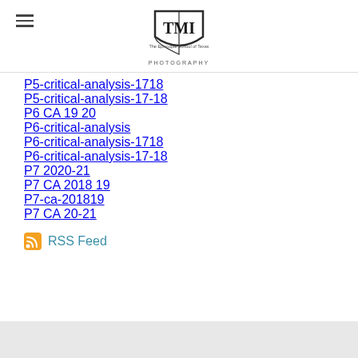TMI — The Episcopal School of Texas Photography
P5-critical-analysis-1718
P5-critical-analysis-17-18
P6 CA 19 20
P6-critical-analysis
P6-critical-analysis-1718
P6-critical-analysis-17-18
P7 2020-21
P7 CA 2018 19
P7-ca-201819
P7 CA 20-21
RSS Feed